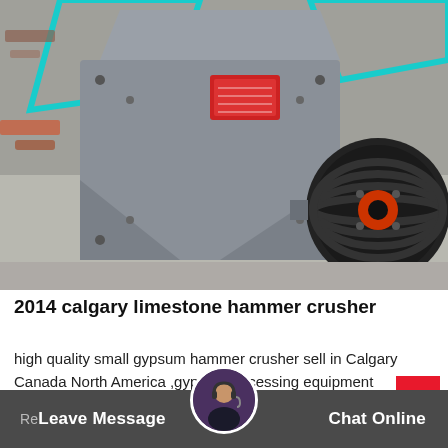[Figure (photo): Photograph of a grey industrial hammer crusher machine with a large black pulley/belt wheel on the right side, red emblem plate, and bolted construction. Machine is on a concrete surface with scrap metal in background. Cyan triangle overlay visible at top.]
2014 calgary limestone hammer crusher
high quality small gypsum hammer crusher sell in Calgary Canada North America ,gypsumprocessing equipment price incanada OfGupsumMining...
Leave Message   Chat Online